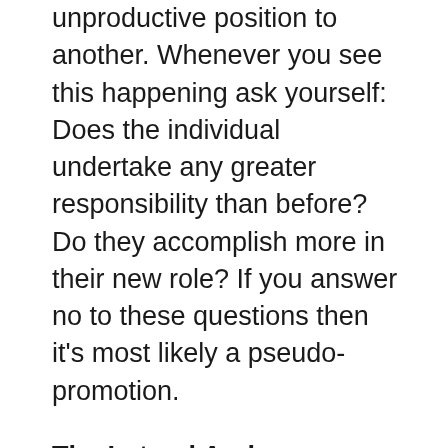unproductive position to another. Whenever you see this happening ask yourself: Does the individual undertake any greater responsibility than before? Do they accomplish more in their new role? If you answer no to these questions then it's most likely a pseudo-promotion.
The Lateral Arabesque
This is another type of pseudo-promotion. Without receiving a pay rise the individual is instead given a new longer title and then moved into a different office. Although the incompetent